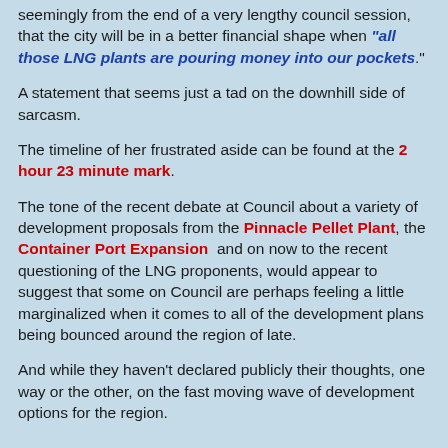seemingly from the end of a very lengthy council session, that the city will be in a better financial shape when "all those LNG plants are pouring money into our pockets."
A statement that seems just a tad on the downhill side of sarcasm.
The timeline of her frustrated aside can be found at the 2 hour 23 minute mark.
The tone of the recent debate at Council about a variety of development proposals from the Pinnacle Pellet Plant, the Container Port Expansion and on now to the recent questioning of the LNG proponents, would appear to suggest that some on Council are perhaps feeling a little marginalized when it comes to all of the development plans being bounced around the region of late.
And while they haven't declared publicly their thoughts, one way or the other, on the fast moving wave of development options for the region.